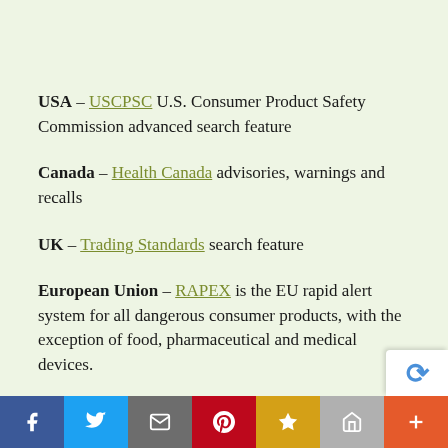USA – USCPSC U.S. Consumer Product Safety Commission advanced search feature
Canada – Health Canada advisories, warnings and recalls
UK – Trading Standards search feature
European Union – RAPEX is the EU rapid alert system for all dangerous consumer products, with the exception of food, pharmaceutical and medical devices.
While there's many, many, many other products st